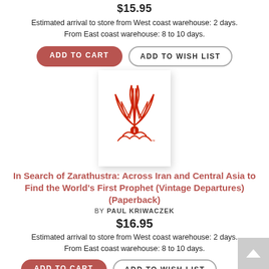$15.95
Estimated arrival to store from West coast warehouse: 2 days. From East coast warehouse: 8 to 10 days.
ADD TO CART
ADD TO WISH LIST
[Figure (logo): Book cover with red illustrated logo/icon on white background]
In Search of Zarathustra: Across Iran and Central Asia to Find the World's First Prophet (Vintage Departures) (Paperback)
BY PAUL KRIWACZEK
$16.95
Estimated arrival to store from West coast warehouse: 2 days. From East coast warehouse: 8 to 10 days.
ADD TO CART
ADD TO WISH LIST